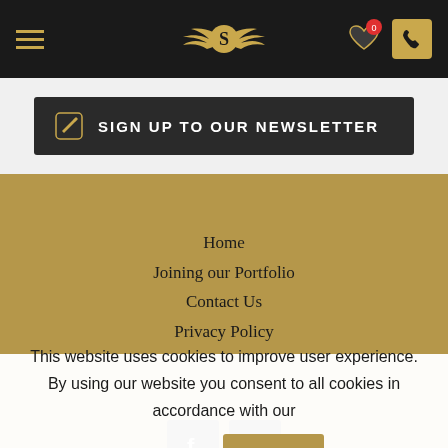Navigation header with hamburger menu, winged-S logo, heart icon with badge 0, and phone icon
SIGN UP TO OUR NEWSLETTER
Home
Joining our Portfolio
Contact Us
Privacy Policy
[Figure (other): Facebook and Instagram social media icon buttons]
This website uses cookies to improve user experience. By using our website you consent to all cookies in accordance with our Cookie Policy. Read more | I agree